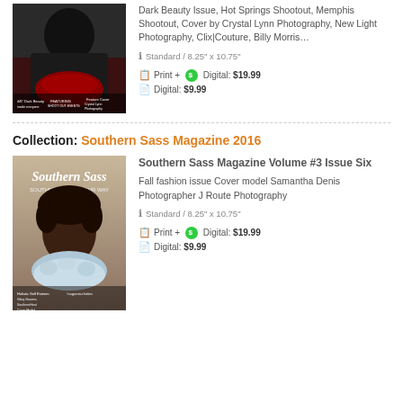[Figure (photo): Magazine cover showing a woman in a black cape with red floral skirt, outdoor setting, text overlay including 'Dark Beauty', 'Shoot Out Events', 'Feature Cover Crystal Lynn Photography']
Dark Beauty Issue, Hot Springs Shootout, Memphis Shootout, Cover by Crystal Lynn Photography, New Light Photography, Clix|Couture, Billy Morris…
Standard / 8.25" x 10.75"
Print + Digital: $19.99
Digital: $9.99
Collection: Southern Sass Magazine 2016
[Figure (photo): Southern Sass magazine cover showing a young woman with curly hair wearing a fluffy blue-white scarf, text includes 'Southern Sass', 'Cover Model', 'Holistic Self Esteem', 'SouthernHeat', '#supportourhotties']
Southern Sass Magazine Volume #3 Issue Six
Fall fashion issue Cover model Samantha Denis Photographer J Route Photography
Standard / 8.25" x 10.75"
Print + Digital: $19.99
Digital: $9.99